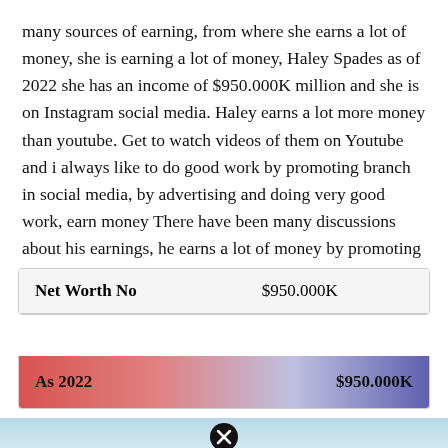many sources of earning, from where she earns a lot of money, she is earning a lot of money, Haley Spades as of 2022 she has an income of $950.000K million and she is on Instagram social media. Haley earns a lot more money than youtube. Get to watch videos of them on Youtube and i always like to do good work by promoting branch in social media, by advertising and doing very good work, earn money There have been many discussions about his earnings, he earns a lot of money by promoting and also by adding advertisements, Instagram comes a lot
| Net Worth No | $950.000K |
| --- | --- |
| As 2022 | $950.000K |
[Figure (photo): Partial image visible at bottom of page with a close/X button overlay]